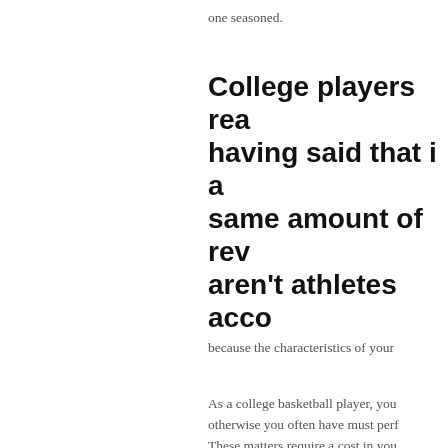one seasoned.
College players rea… having said that i a… same amount of rev… aren’t athletes acco…
because the characteristics of your…
As a college basketball player, you… otherwise you often have must perf… These matters require a cost in you… dissertation. Possibly you have bee… you been compensated to post an e…
Another manner in which institution… They’ll spend on anyone to participa… they do not be forsed to pay on you…